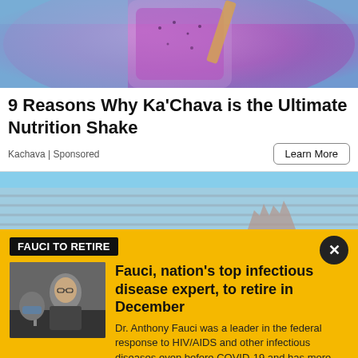[Figure (photo): Close-up of a purple smoothie in a glass jar with a garnish, against a light blue background]
9 Reasons Why Ka'Chava is the Ultimate Nutrition Shake
Kachava | Sponsored
Learn More
[Figure (photo): Partial view of people outdoors near a building with blue siding, hands raised]
FAUCI TO RETIRE
[Figure (photo): Photo of Dr. Anthony Fauci seated at a hearing, wearing a dark suit]
Fauci, nation's top infectious disease expert, to retire in December
Dr. Anthony Fauci was a leader in the federal response to HIV/AIDS and other infectious diseases even before COVID-19 and has more than five decades of service.